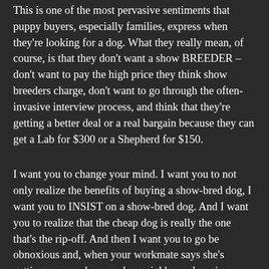This is one of the most pervasive sentiments that puppy buyers, especially families, express when they're looking for a dog. What they really mean, of course, is that they don't want a show BREEDER – don't want to pay the high price they think show breeders charge, don't want to go through the often-invasive interview process, and think that they're getting a better deal or a real bargain because they can get a Lab for $300 or a Shepherd for $150.
I want you to change your mind. I want you to not only realize the benefits of buying a show-bred dog, I want you to INSIST on a show-bred dog. And I want you to realize that the cheap dog is really the one that's the rip-off. And then I want you to go be obnoxious and, when your workmate says she's getting a puppy because her neighbor, who raises them, will give her one for free, or when your brother-in-law announces that they're buying a goldendoodle for the kids, I want you to launch yourself